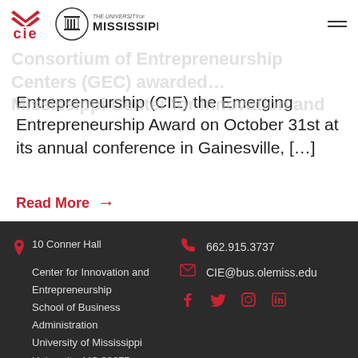CIE | The University of Mississippi
Consortium of Entrepreneurship Centers (GEC) awarded… Mississippi Center for Innovation and Entrepreneurship (CIE) the Emerging Entrepreneurship Award on October 31st at its annual conference in Gainesville, […]
Read More →
10 Conner Hall, Center for Innovation and Entrepreneurship, School of Business Administration, University of Mississippi, University, MS 38677 | 662.915.3737 | CIE@bus.olemiss.edu